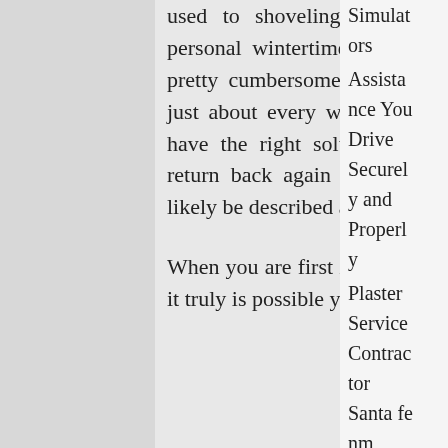used to shoveling mounds of snow every single personal wintertime, this has a tendency to become pretty cumbersome and in addition you could dread just about every wintertime. While in the event you have the right solutions you might want winter to return back again and dreading the snow will very likely be described as a detail while using the before.

When you are first in search of a snow blower thrower it truly is possible you may
Simulators
Assistance You Drive Securely and Properly
Plaster Service Contractor Santa fe nm